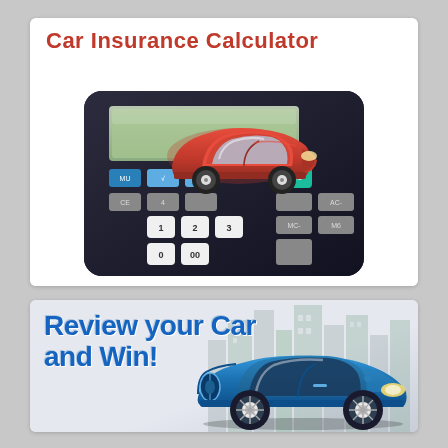Car Insurance Calculator
[Figure (photo): A red toy car sitting on top of a black calculator with blue and gray buttons, against a white background]
[Figure (infographic): Promotional banner with bold blue text 'Review your Car and Win!' over a light city skyline background, with a blue BMW convertible car on the right side]